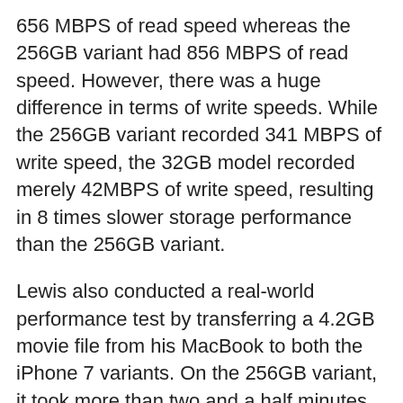656 MBPS of read speed whereas the 256GB variant had 856 MBPS of read speed. However, there was a huge difference in terms of write speeds. While the 256GB variant recorded 341 MBPS of write speed, the 32GB model recorded merely 42MBPS of write speed, resulting in 8 times slower storage performance than the 256GB variant.
Lewis also conducted a real-world performance test by transferring a 4.2GB movie file from his MacBook to both the iPhone 7 variants. On the 256GB variant, it took more than two and a half minutes to transfer the file. The 32GB variant, on the other hand, took over three and a half minutes to share the same file.
However, this performance difference isn't much of a surprise considering that SSDs with larger capacity generally perform better than the smaller ones. In case you are storage conscious, you might have to shell out extra